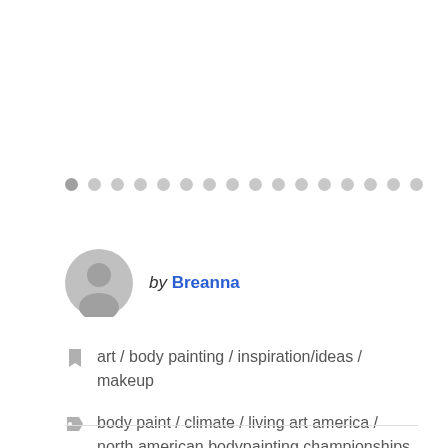[Figure (other): A row of circular pagination dots, with the first dot slightly darker (active) and the rest light gray]
by Breanna
art / body painting / inspiration/ideas / makeup
body paint / climate / living art america / north american bodypainting championships / our children's trust / seeds